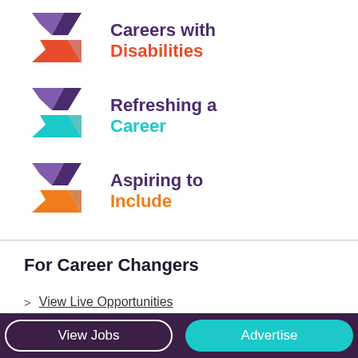[Figure (logo): Careers with Disabilities logo - purple and red chevron/arrow icon]
[Figure (logo): Refreshing a Career logo - purple and teal chevron/arrow icon]
[Figure (logo): Aspiring to Include logo - purple and orange chevron/arrow icon]
For Career Changers
View Live Opportunities
Companies Who Support Career Changers